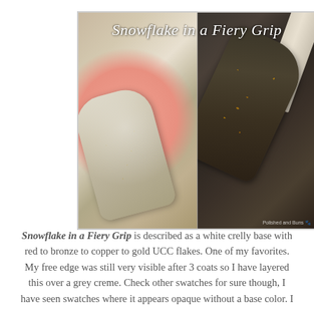[Figure (photo): Two-panel photo showing nail polish swatches labeled 'Snowflake in a Fiery Grip'. Left panel shows a pale/white crelly nail with gold and bronze flakes on a pink background. Right panel shows a dark nail/swatch with vivid gold, copper, and red flakes, with a brush handle visible.]
Snowflake in a Fiery Grip is described as a white crelly base with red to bronze to copper to gold UCC flakes. One of my favorites. My free edge was still very visible after 3 coats so I have layered this over a grey creme. Check other swatches for sure though, I have seen swatches where it appears opaque without a base color. I